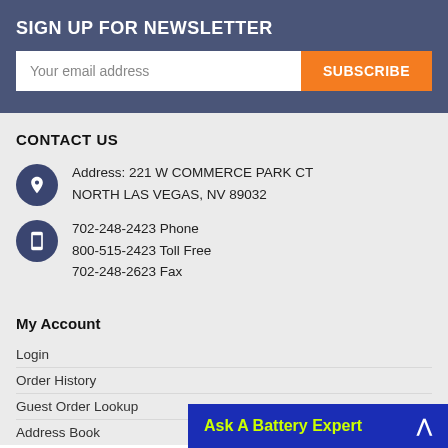SIGN UP FOR NEWSLETTER
Your email address | SUBSCRIBE
CONTACT US
Address: 221 W COMMERCE PARK CT NORTH LAS VEGAS, NV 89032
702-248-2423 Phone
800-515-2423 Toll Free
702-248-2623 Fax
My Account
Login
Order History
Guest Order Lookup
Address Book
Ask A Battery Expert